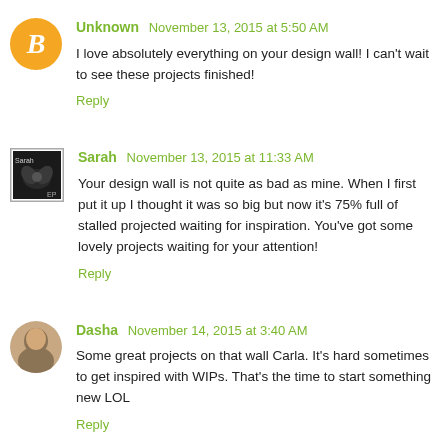Unknown November 13, 2015 at 5:50 AM
I love absolutely everything on your design wall! I can't wait to see these projects finished!
Reply
Sarah November 13, 2015 at 11:33 AM
Your design wall is not quite as bad as mine. When I first put it up I thought it was so big but now it's 75% full of stalled projected waiting for inspiration. You've got some lovely projects waiting for your attention!
Reply
Dasha November 14, 2015 at 3:40 AM
Some great projects on that wall Carla. It's hard sometimes to get inspired with WIPs. That's the time to start something new LOL
Reply